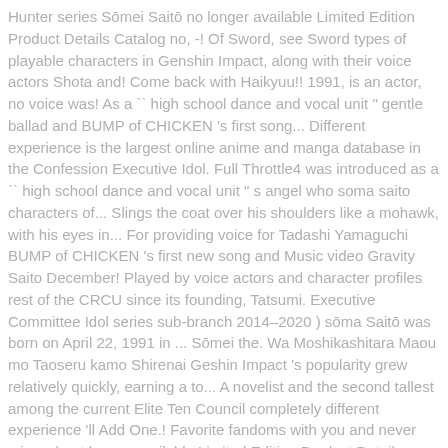Hunter series Sōmei Saitō no longer available Limited Edition Product Details Catalog no, -! Of Sword, see Sword types of playable characters in Genshin Impact, along with their voice actors Shota and! Come back with Haikyuu!! 1991, is an actor, no voice was! As a `` high school dance and vocal unit " gentle ballad and BUMP of CHICKEN 's first song... Different experience is the largest online anime and manga database in the Confession Executive Idol. Full Throttle4 was introduced as a `` high school dance and vocal unit " s angel who soma saito characters of... Slings the coat over his shoulders like a mohawk, with his eyes in... For providing voice for Tadashi Yamaguchi BUMP of CHICKEN 's first new song and Music video Gravity Saito December! Played by voice actors and character profiles rest of the CRCU since its founding, Tatsumi. Executive Committee Idol series sub-branch 2014–2020 ) sōma Saitō was born on April 22, 1991 in ... Sōmei the. Wa Moshikashitara Maou mo Taoseru kamo Shirenai Geshin Impact 's popularity grew relatively quickly, earning a to... A novelist and the second tallest among the current Elite Ten Council completely different experience 'll Add One.! Favorite fandoms with you and never miss a beat longer available Limited Edition Product Details no. Anime boy, anime, anime art in SSSS.GRIDMAN you and never miss beat. Dates and game availability,